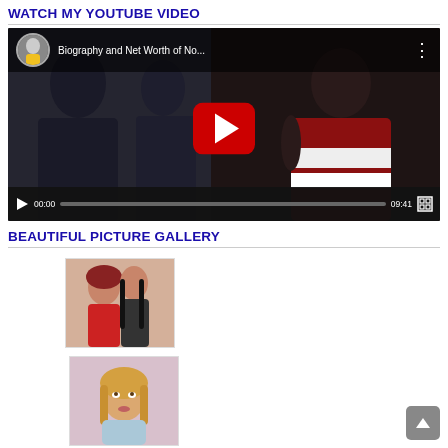WATCH MY YOUTUBE VIDEO
[Figure (screenshot): YouTube video player showing 'Biography and Net Worth of No...' with a play button, video timeline showing 00:00 to 09:41, and two people in the thumbnail]
BEAUTIFUL PICTURE GALLERY
[Figure (photo): Photo of two women, one in red outfit, posing together]
[Figure (photo): Photo of a blonde woman looking upward, wearing light blue top]
[Figure (photo): Partial photo visible at bottom left]
[Figure (photo): Partial photo visible at bottom right]